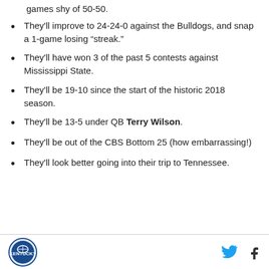games shy of 50-50.
They'll improve to 24-24-0 against the Bulldogs, and snap a 1-game losing “streak.”
They'll have won 3 of the past 5 contests against Mississippi State.
They'll be 19-10 since the start of the historic 2018 season.
They'll be 13-5 under QB Terry Wilson.
They'll be out of the CBS Bottom 25 (how embarrassing!)
They'll look better going into their trip to Tennessee.
Logo and social icons